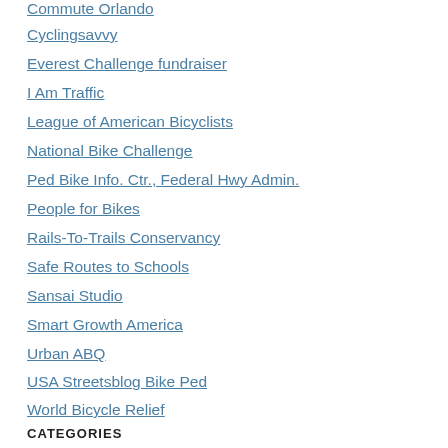Commute Orlando
Cyclingsavvy
Everest Challenge fundraiser
I Am Traffic
League of American Bicyclists
National Bike Challenge
Ped Bike Info. Ctr., Federal Hwy Admin.
People for Bikes
Rails-To-Trails Conservancy
Safe Routes to Schools
Sansai Studio
Smart Growth America
Urban ABQ
USA Streetsblog Bike Ped
World Bicycle Relief
CATEGORIES